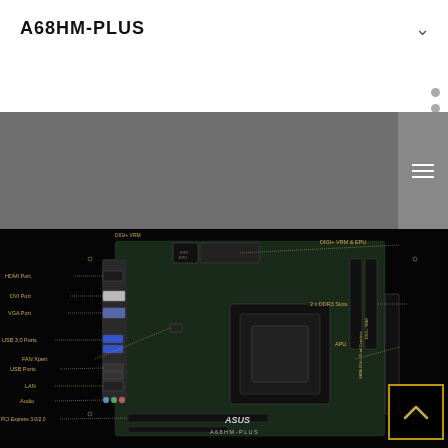A68HM-PLUS
[Figure (engineering-diagram): ASUS A68HM-PLUS motherboard diagram with labeled components including HDMI Port, DVI Port, VGA Port, USB 3.0 Ports, USB Ports, LAN, Audio, PCI Express 3.0/2.0, FAN Xpert, DIGI+ VRM & EPU, 2 x DDR3 Slots, APU]
DIGI+ VRM & EPU
HDMI Port
DVI Port
VGA Port
2 x DDR3 Slots
APU
USB 3.0 Ports
FAN Xpert
USB Ports
LAN
Audio
PCI Express 3.0/2.0